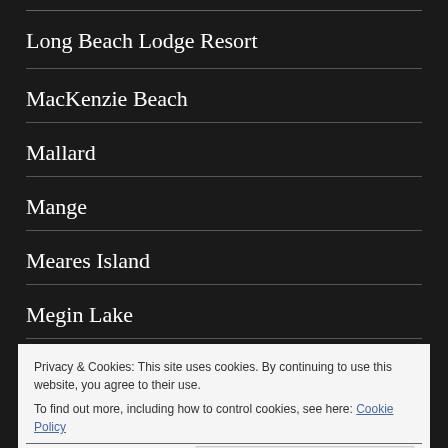Long Beach Lodge Resort
MacKenzie Beach
Mallard
Mange
Meares Island
Megin Lake
Privacy & Cookies: This site uses cookies. By continuing to use this website, you agree to their use.
To find out more, including how to control cookies, see here: Cookie Policy
Close and accept